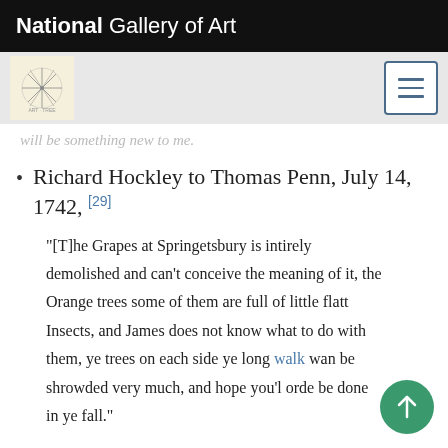National Gallery of Art
will be something new to me.
Richard Hockley to Thomas Penn, July 14, 1742, [29]
"[T]he Grapes at Springetsbury is intirely demolished and can't conceive the meaning of it, the Orange trees some of them are full of little flatt Insects, and James does not know what to do with them, ye trees on each side ye long walk wan be shrowded very much, and hope you'l orde be done in ye fall."